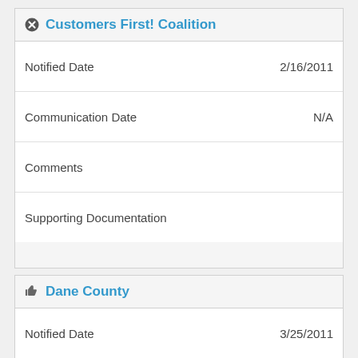Customers First! Coalition
| Field | Value |
| --- | --- |
| Notified Date | 2/16/2011 |
| Communication Date | N/A |
| Comments |  |
| Supporting Documentation |  |
Dane County
| Field | Value |
| --- | --- |
| Notified Date | 3/25/2011 |
| Communication Date | N/A |
| Comments |  |
| Supporting Documentation |  |